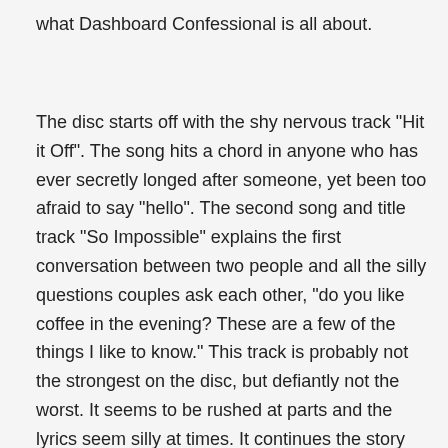what Dashboard Confessional is all about.
The disc starts off with the shy nervous track "Hit it Off". The song hits a chord in anyone who has ever secretly longed after someone, yet been too afraid to say "hello". The second song and title track "So Impossible" explains the first conversation between two people and all the silly questions couples ask each other, "do you like coffee in the evening? These are a few of the things I like to know." This track is probably not the strongest on the disc, but defiantly not the worst. It seems to be rushed at parts and the lyrics seem silly at times. It continues the story the disc is telling very well. "Remember to Breathe", the third song on the disc is by far the weakest track on this release. This is probably my least favorite release from DC so far in the bands short career. The song's lyrics are boring and not as interesting as others on the disc, it also kind of slows down the flow of the disc. Perhaps the lackluster elements of the third track are